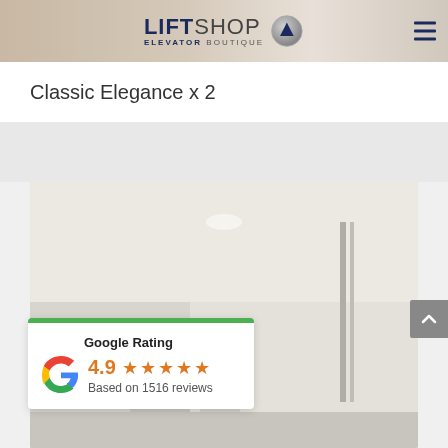[Figure (screenshot): LiftShop Elevator Boutique website header with logo showing LIFT in bold navy and SHOP in gray, circular logo icon, hamburger menu on the right, background shows elevator interior]
Classic Elegance x 2
[Figure (photo): Interior elevator cabin photo showing white walls, ceiling light, and elevator door mechanism]
Google Rating
4.9 ★★★★★
Based on 1516 reviews